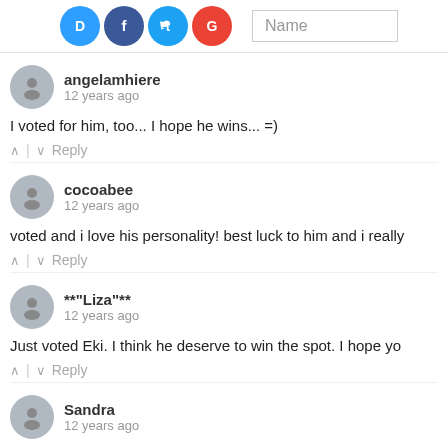[Figure (screenshot): Top bar showing social login icons (Disqus, Facebook, Twitter, Google) and a Name input field]
angelamhiere
12 years ago
I voted for him, too... I hope he wins... =)
cocoabee
12 years ago
voted and i love his personality! best luck to him and i really
**"Liza"**
12 years ago
Just voted Eki. I think he deserve to win the spot. I hope yo
Sandra
12 years ago
Wo~ No wonder you've been really busy and not been havi
Al and doing work! Good luck to your friend!! ^_^ I hope yo